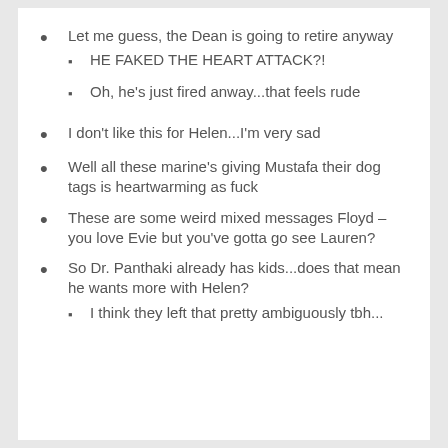Let me guess, the Dean is going to retire anyway
HE FAKED THE HEART ATTACK?!
Oh, he's just fired anway...that feels rude
I don't like this for Helen...I'm very sad
Well all these marine's giving Mustafa their dog tags is heartwarming as fuck
These are some weird mixed messages Floyd – you love Evie but you've gotta go see Lauren?
So Dr. Panthaki already has kids...does that mean he wants more with Helen?
I think they left that pretty ambiguously tbh...